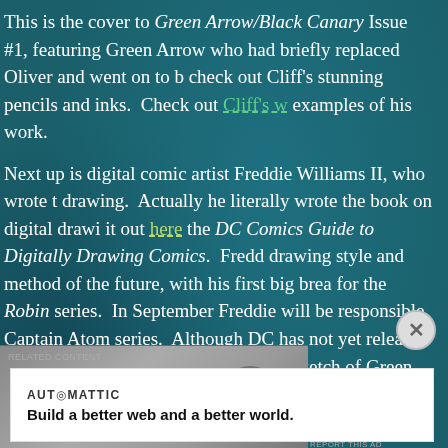This is the cover to Green Arrow/Black Canary Issue #1, featuring Green Arrow who had briefly replaced Oliver and went on to b check out Cliff's stunning pencils and inks.  Check out Cliff's w examples of his work.
Next up is digital comic artist Freddie Williams II, who wrote t drawing.  Actually he literally wrote the book on digital drawi it out here the DC Comics Guide to Digitally Drawing Comics.  Fredd drawing style and method of the future, with his first big brea for the Robin series.  In September Freddie will be responsible  Captain Atom series.  Although DC has not yet released any adv pages for the series, here is a sketch of Green Arrow and Black few years ago.
[Figure (photo): Partial view of a pencil sketch, grey background suggesting comic artwork of Green Arrow and Black Canary]
[Figure (other): Advertisement overlay with close button (X). Contains Automattic logo and text: Build a better web and a better world.]